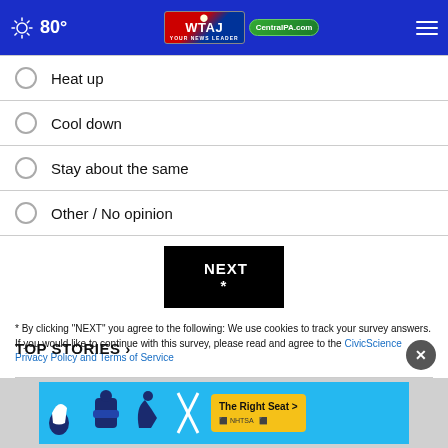80° WTAJ CentralPA.com
Heat up
Cool down
Stay about the same
Other / No opinion
NEXT *
* By clicking "NEXT" you agree to the following: We use cookies to track your survey answers. If you would like to continue with this survey, please read and agree to the CivicScience Privacy Policy and Terms of Service
TOP STORIES ›
[Figure (screenshot): Advertisement banner: The Right Seat > NHTSA ad with car seat safety icons on blue background]